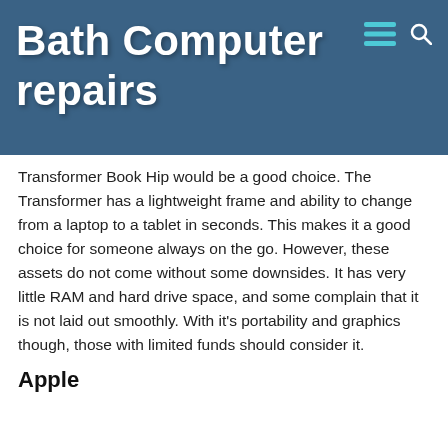Bath Computer repairs
Transformer Book Hip would be a good choice. The Transformer has a lightweight frame and ability to change from a laptop to a tablet in seconds. This makes it a good choice for someone always on the go. However, these assets do not come without some downsides. It has very little RAM and hard drive space, and some complain that it is not laid out smoothly. With it's portability and graphics though, those with limited funds should consider it.
Apple
[Figure (photo): MacBook Air laptop viewed from behind and above, showing silver aluminum lid with Apple logo, on white background]